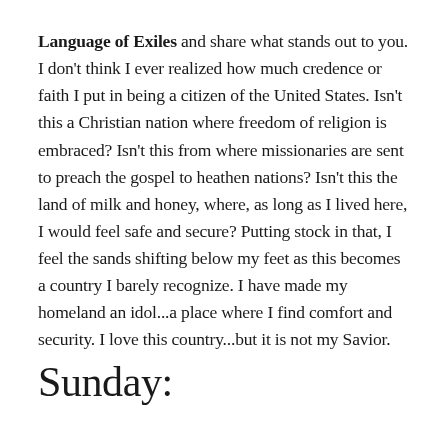Language of Exiles and share what stands out to you.  I don't think I ever realized how much credence or faith I put in being a citizen of the United States.  Isn't this a Christian nation where freedom of religion is embraced?  Isn't this from where missionaries are sent to preach the gospel to heathen nations?  Isn't this the land of milk and honey, where, as long as I lived here, I would feel safe and secure?  Putting stock in that, I feel the sands shifting below my feet as this becomes a country I barely recognize.  I have made my homeland an idol...a place where I find comfort and security.  I love this country...but it is not my Savior.
Sunday: